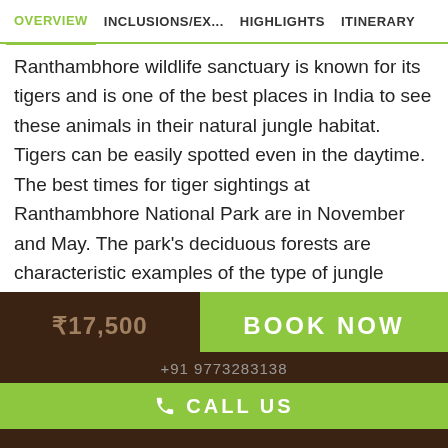OVERVIEW | INCLUSIONS/EX... | HIGHLIGHTS | ITINERARY
Ranthambhore wildlife sanctuary is known for its tigers and is one of the best places in India to see these animals in their natural jungle habitat. Tigers can be easily spotted even in the daytime. The best times for tiger sightings at Ranthambhore National Park are in November and May. The park's deciduous forests are characteristic examples of the type of jungle found in Central India. Other major wild animals include leopard, nilgai, wild boar, sambar, striped hyena, sloth bear, southern plains grey langur, rhesus macaque and chital. The sanctuary is home to a wide variety
₹17,500
BOOK NOW
+91 9773283138
CALL US